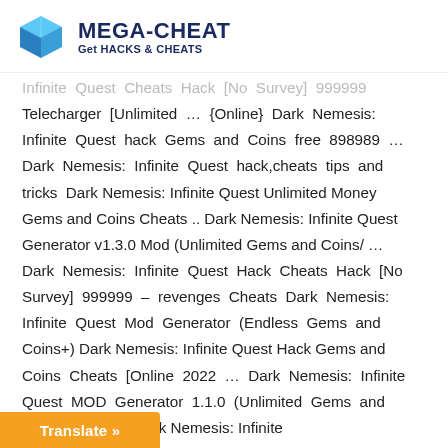MEGA-CHEAT Get HACKS & CHEATS
Infinite Quest Cheats Hack [No Survey] 999999 Telecharger [Unlimited ... {Online} Dark Nemesis: Infinite Quest hack Gems and Coins free 898989 ... Dark Nemesis: Infinite Quest hack,cheats tips and tricks Dark Nemesis: Infinite Quest Unlimited Money Gems and Coins Cheats .. Dark Nemesis: Infinite Quest Generator v1.3.0 Mod (Unlimited Gems and Coins/ ... Dark Nemesis: Infinite Quest Hack Cheats Hack [No Survey] 999999 – revenges Cheats Dark Nemesis: Infinite Quest Mod Generator (Endless Gems and Coins+) Dark Nemesis: Infinite Quest Hack Gems and Coins Cheats [Online 2022 ... Dark Nemesis: Infinite Quest MOD Generator 1.1.0 (Unlimited Gems and s and Coins, ... Dark Nemesis: Infinite